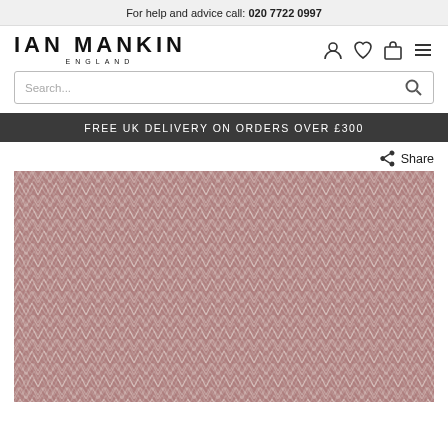For help and advice call: 020 7722 0997
[Figure (logo): Ian Mankin England logo]
Search...
FREE UK DELIVERY ON ORDERS OVER £300
Share
[Figure (photo): Close-up of a herringbone/chevron woven fabric in dusty rose/pink and cream/white tones]